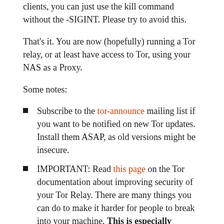clients, you can just use the kill command without the -SIGINT. Please try to avoid this.
That's it. You are now (hopefully) running a Tor relay, or at least have access to Tor, using your NAS as a Proxy.
Some notes:
Subscribe to the tor-announce mailing list if you want to be notified on new Tor updates. Install them ASAP, as old versions might be insecure.
IMPORTANT: Read this page on the Tor documentation about improving security of your Tor Relay. There are many things you can do to make it harder for people to break into your machine. This is especially important if you are running an exit node.
If you want to browse the internet using Tor, use the Tor browser bundle instead of setting Tor as a proxy